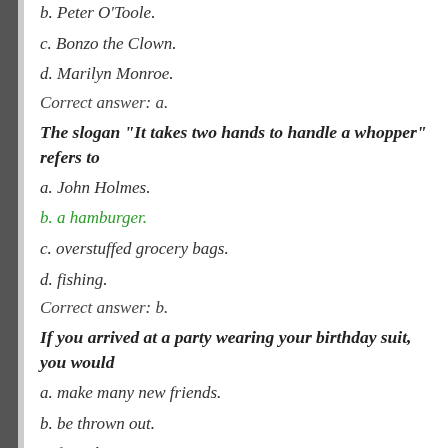b. Peter O'Toole.
c. Bonzo the Clown.
d. Marilyn Monroe.
Correct answer: a.
The slogan "It takes two hands to handle a whopper" refers to
a. John Holmes.
b. a hamburger.
c. overstuffed grocery bags.
d. fishing.
Correct answer: b.
If you arrived at a party wearing your birthday suit, you would
a. make many new friends.
b. be thrown out.
c. fit right in.
d. It depends on the party.
Correct answer: d.
Cesar Chavez led a boycott of